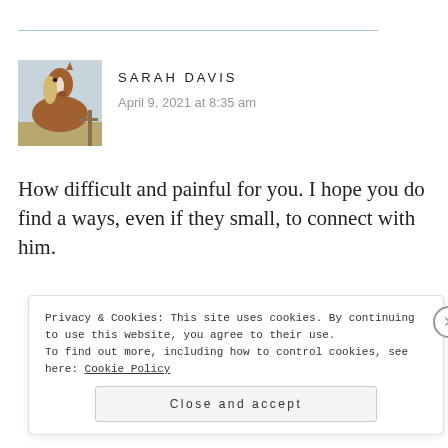[Figure (photo): Profile photo of a brown and white horse outdoors]
SARAH DAVIS
April 9, 2021 at 8:35 am
How difficult and painful for you. I hope you do find a ways, even if they small, to connect with him.
Privacy & Cookies: This site uses cookies. By continuing to use this website, you agree to their use.
To find out more, including how to control cookies, see here: Cookie Policy
Close and accept